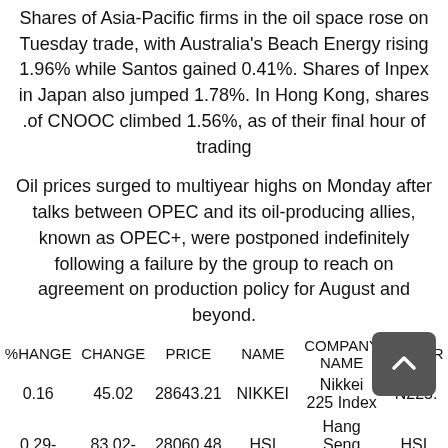Shares of Asia-Pacific firms in the oil space rose on Tuesday trade, with Australia's Beach Energy rising 1.96% while Santos gained 0.41%. Shares of Inpex in Japan also jumped 1.78%. In Hong Kong, shares of CNOOC climbed 1.56%, as of their final hour of trading.
Oil prices surged to multiyear highs on Monday after talks between OPEC and its oil-producing allies, known as OPEC+, were postponed indefinitely following a failure by the group to reach on agreement on production policy for August and beyond.
| TICKER | COMPANY NAME | NAME | PRICE | CHANGE | %CHANGE |
| --- | --- | --- | --- | --- | --- |
| N225. | Nikkei 225 Index | NIKKEI | 28643.21 | 45.02 | 0.16 |
| HSI. | Hang Seng Index | HSI | 28060.48 | -83.02- | -0.29- |
| AXIO | S&P/ASX | ASX 200 | 7261.80 | -53.20- | -0.73- |